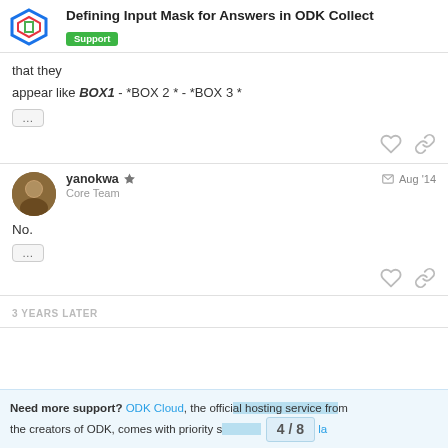Defining Input Mask for Answers in ODK Collect | Support
that they
appear like BOX1 - *BOX 2 * - *BOX 3 *
yanokwa — Core Team — Aug '14
No.
3 YEARS LATER
Need more support? ODK Cloud, the official hosting service from the creators of ODK, comes with priority s
4 / 8